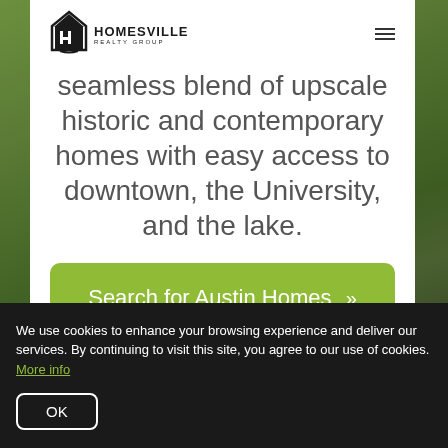[Figure (logo): Homesville Realty Group logo with house icon and navigation hamburger menu]
seamless blend of upscale historic and contemporary homes with easy access to downtown, the University, and the lake.
Search for Austin Homes »
We use cookies to enhance your browsing experience and deliver our services. By continuing to visit this site, you agree to our use of cookies. More info
OK